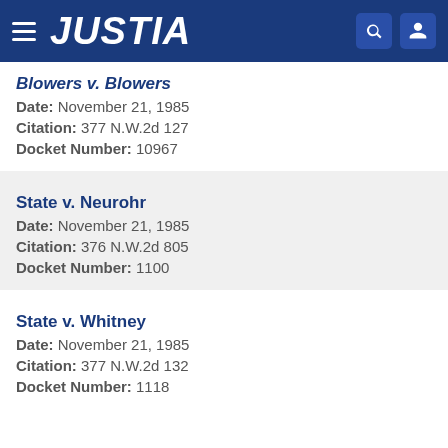JUSTIA
Blowers v. Blowers
Date: November 21, 1985
Citation: 377 N.W.2d 127
Docket Number: 10967
State v. Neurohr
Date: November 21, 1985
Citation: 376 N.W.2d 805
Docket Number: 1100
State v. Whitney
Date: November 21, 1985
Citation: 377 N.W.2d 132
Docket Number: 1118